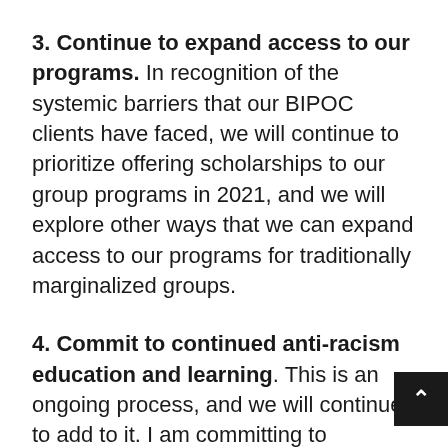3. Continue to expand access to our programs. In recognition of the systemic barriers that our BIPOC clients have faced, we will continue to prioritize offering scholarships to our group programs in 2021, and we will explore other ways that we can expand access to our programs for traditionally marginalized groups.
4. Commit to continued anti-racism education and learning. This is an ongoing process, and we will continue to add to it. I am committing to participating in at least two programs focused on anti-racism this year and to continuing to prioritize reading, listening to and watching content that will broaden my